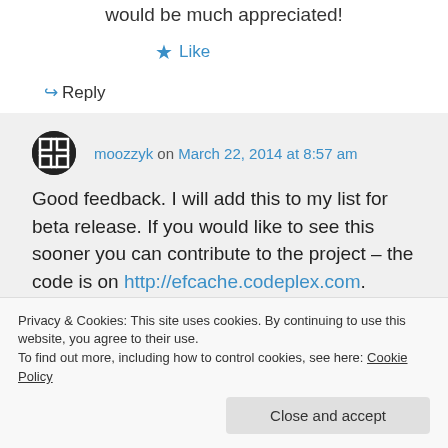would be much appreciated!
★ Like
↪ Reply
moozzyk on March 22, 2014 at 8:57 am
Good feedback. I will add this to my list for beta release. If you would like to see this sooner you can contribute to the project – the code is on http://efcache.codeplex.com.
Privacy & Cookies: This site uses cookies. By continuing to use this website, you agree to their use.
To find out more, including how to control cookies, see here: Cookie Policy